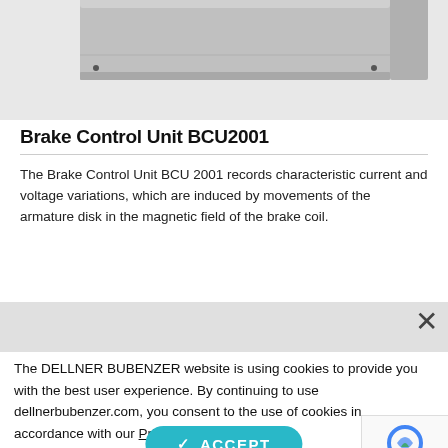[Figure (photo): Partial view of a gray rectangular brake control unit device (BCU2001) on a light gray background]
Brake Control Unit BCU2001
The Brake Control Unit BCU 2001 records characteristic current and voltage variations, which are induced by movements of the armature disk in the magnetic field of the brake coil.
The DELLNER BUBENZER website is using cookies to provide you with the best user experience. By continuing to use dellnerbubenzer.com, you consent to the use of cookies in accordance with our Privacy Policy.